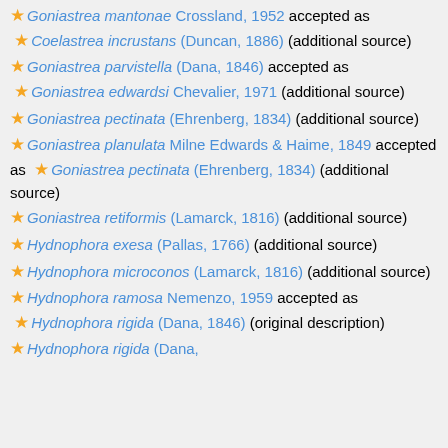★ Goniastrea mantonae Crossland, 1952 accepted as ★ Coelastrea incrustans (Duncan, 1886) (additional source)
★ Goniastrea parvistella (Dana, 1846) accepted as ★ Goniastrea edwardsi Chevalier, 1971 (additional source)
★ Goniastrea pectinata (Ehrenberg, 1834) (additional source)
★ Goniastrea planulata Milne Edwards & Haime, 1849 accepted as ★ Goniastrea pectinata (Ehrenberg, 1834) (additional source)
★ Goniastrea retiformis (Lamarck, 1816) (additional source)
★ Hydnophora exesa (Pallas, 1766) (additional source)
★ Hydnophora microconos (Lamarck, 1816) (additional source)
★ Hydnophora ramosa Nemenzo, 1959 accepted as ★ Hydnophora rigida (Dana, 1846) (original description)
★ Hydnophora rigida (Dana,